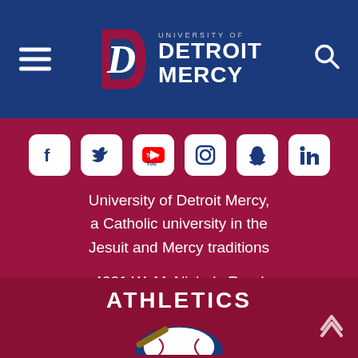University of Detroit Mercy
[Figure (logo): University of Detroit Mercy logo with stylized D and text on blue header bar]
[Figure (infographic): Social media icons row: Facebook, Twitter, YouTube, Instagram, Snapchat, LinkedIn on crimson background]
University of Detroit Mercy, a Catholic university in the Jesuit and Mercy traditions
4001 W. McNichols Road Detroit, Mich. 48221-3038
ATHLETICS
[Figure (illustration): Partial athletics logo/mascot illustration visible at bottom of page]